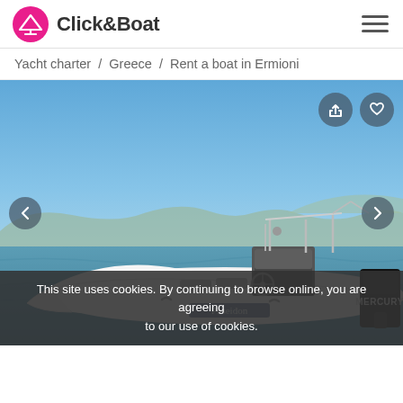Click&Boat
Yacht charter / Greece / Rent a boat in Ermioni
[Figure (photo): White RIB (rigid inflatable boat) named Poseidon with Mercury outboard engine, floating on blue-green water with hilly coastline in background under clear blue sky. Navigation controls with circular back arrow (left), share and heart icon buttons (top right), and forward arrow (right).]
This site uses cookies. By continuing to browse online, you are agreeing to our use of cookies.